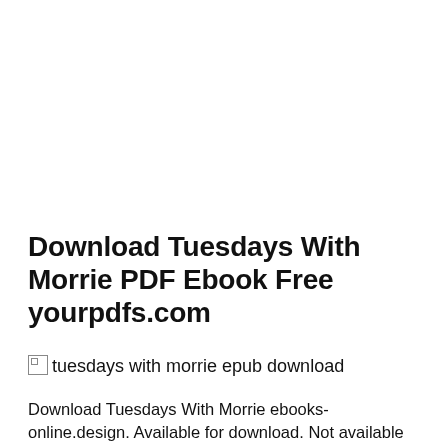Download Tuesdays With Morrie PDF Ebook Free yourpdfs.com
[Figure (other): Broken image placeholder with alt text 'tuesdays with morrie epub download']
Download Tuesdays With Morrie ebooks-online.design. Available for download. Not available in stores. buy ebook